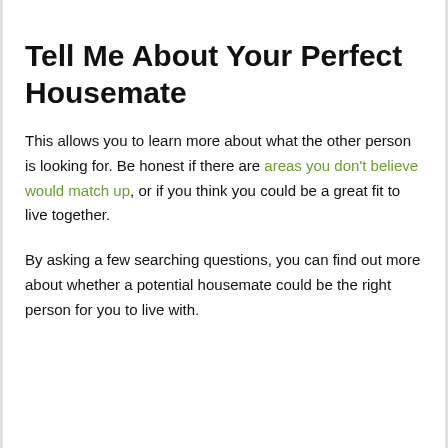Tell Me About Your Perfect Housemate
This allows you to learn more about what the other person is looking for. Be honest if there are areas you don't believe would match up, or if you think you could be a great fit to live together.
By asking a few searching questions, you can find out more about whether a potential housemate could be the right person for you to live with.